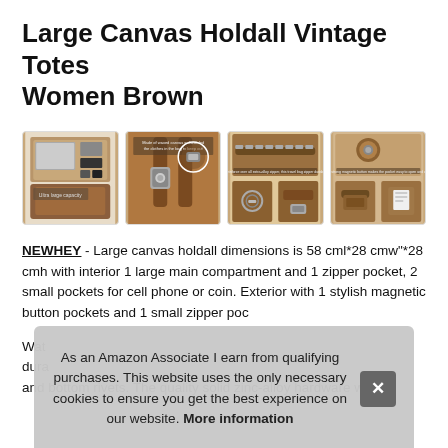Large Canvas Holdall Vintage Totes Women Brown
[Figure (photo): Four product thumbnail images of a brown canvas holdall bag showing the bag open with contents, a close-up of the buckle/strap detail, zipper detail shots, and magnetic button pocket detail.]
NEWHEY - Large canvas holdall dimensions is 58 cml*28 cmw"*28 cmh with interior 1 large main compartment and 1 zipper pocket, 2 small pockets for cell phone or coin. Exterior with 1 stylish magnetic button pockets and 1 small zipper poc...
Wat... dura... and bottom rivets. The quality solid zinc-alloy hardware won't
As an Amazon Associate I earn from qualifying purchases. This website uses the only necessary cookies to ensure you get the best experience on our website. More information